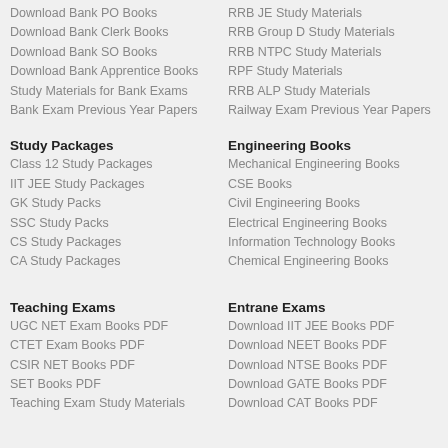Download Bank PO Books
Download Bank Clerk Books
Download Bank SO Books
Download Bank Apprentice Books
Study Materials for Bank Exams
Bank Exam Previous Year Papers
RRB JE Study Materials
RRB Group D Study Materials
RRB NTPC Study Materials
RPF Study Materials
RRB ALP Study Materials
Railway Exam Previous Year Papers
Study Packages
Class 12 Study Packages
IIT JEE Study Packages
GK Study Packs
SSC Study Packs
CS Study Packages
CA Study Packages
Engineering Books
Mechanical Engineering Books
CSE Books
Civil Engineering Books
Electrical Engineering Books
Information Technology Books
Chemical Engineering Books
Teaching Exams
UGC NET Exam Books PDF
CTET Exam Books PDF
CSIR NET Books PDF
SET Books PDF
Teaching Exam Study Materials
Entrane Exams
Download IIT JEE Books PDF
Download NEET Books PDF
Download NTSE Books PDF
Download GATE Books PDF
Download CAT Books PDF